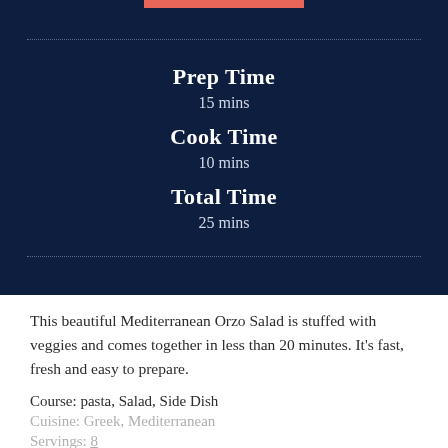Prep Time
15 mins
Cook Time
10 mins
Total Time
25 mins
This beautiful Mediterranean Orzo Salad is stuffed with veggies and comes together in less than 20 minutes. It's fast, fresh and easy to prepare.
Course: pasta, Salad, Side Dish
Cuisine: Greek, Mediterranean
Servings: 8